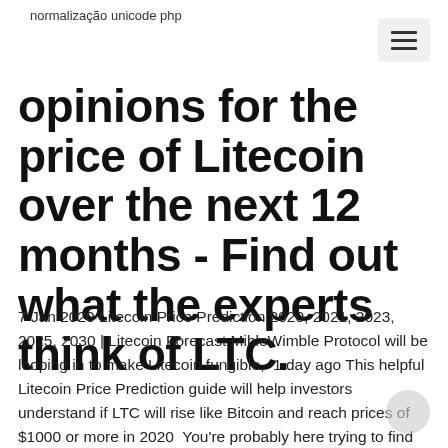normalização unicode php
opinions for the price of Litecoin over the next 12 months - Find out what the experts think of LTC.
7 Jan 2020 Litecoin Price Prediction 2020, 2021, 2023, 2025, 2030 | Litecoin Forecast MibleWimble Protocol will be looping in to make Litecoin fungible,  1 day ago This helpful Litecoin Price Prediction guide will help investors understand if LTC will rise like Bitcoin and reach prices of $1000 or more in 2020  You're probably here trying to find out what litecoin's price will be in 2020, but I'm afraid we will have to disappoint you a bit. The exact value of litecoin is hard to